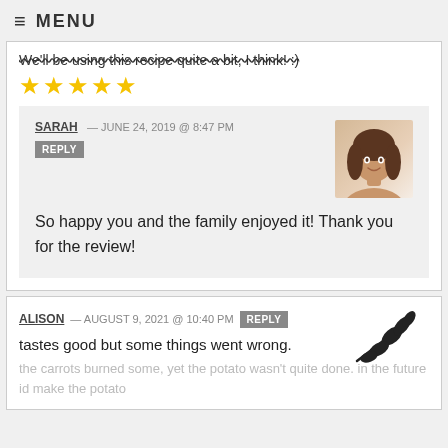≡ MENU
We'll be using this recipe quite a bit, I think! :)
[Figure (other): Five gold/yellow star rating icons]
SARAH — JUNE 24, 2019 @ 8:47 PM
REPLY
[Figure (photo): Profile photo of a woman with brown hair]
So happy you and the family enjoyed it! Thank you for the review!
ALISON — AUGUST 9, 2021 @ 10:40 PM
REPLY
[Figure (illustration): Black leaf/branch decorative icon]
tastes good but some things went wrong.
the carrots burned some, yet the potato wasn't quite done. in the future id make the potato